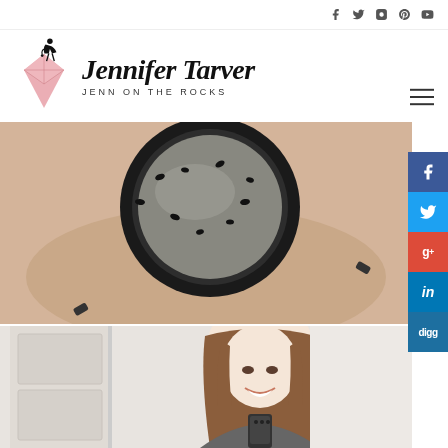Social media icons: Facebook, Twitter, Instagram, Pinterest, YouTube
[Figure (logo): Jennifer Tarver / Jenn on the Rocks blog logo with pink diamond and sitting girl silhouette]
[Figure (photo): Close-up photo of a circular bug trap/zapper with insects inside, held by a hand]
[Figure (photo): Woman with brown hair smiling at camera in a mirror selfie, holding a phone]
[Figure (infographic): Social media share sidebar with Facebook (blue), Twitter (light blue), Google+ (red), LinkedIn (blue), Digg (dark blue)]